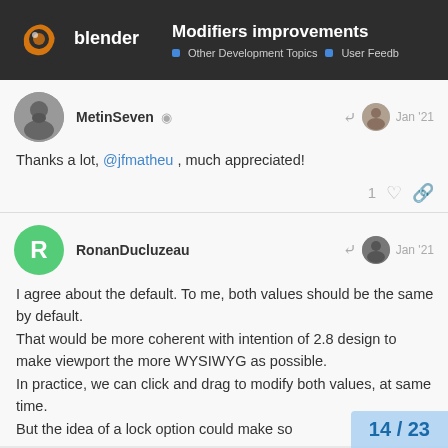Modifiers improvements | Other Development Topics | User Feedback
MetinSeven  Jan '21
Thanks a lot, @jfmatheu , much appreciated!
RonanDucluzeau  Jan '21
I agree about the default. To me, both values should be the same by default.
That would be more coherent with intention of 2.8 design to make viewport the more WYSIWYG as possible.
In practice, we can click and drag to modify both values, at same time.
But the idea of a lock option could make so
14 / 23